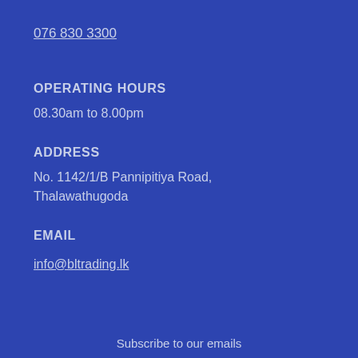076 830 3300
OPERATING HOURS
08.30am to 8.00pm
ADDRESS
No. 1142/1/B Pannipitiya Road, Thalawathugoda
EMAIL
info@bltrading.lk
Subscribe to our emails